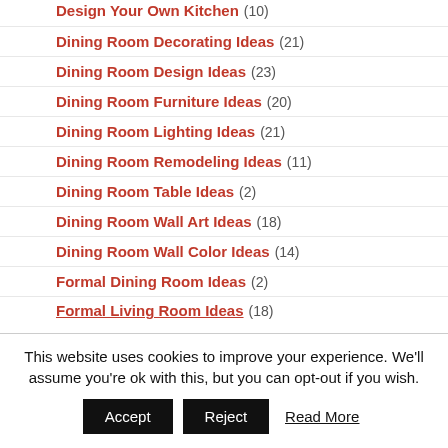Dining Room Decorating Ideas (21)
Dining Room Design Ideas (23)
Dining Room Furniture Ideas (20)
Dining Room Lighting Ideas (21)
Dining Room Remodeling Ideas (11)
Dining Room Table Ideas (2)
Dining Room Wall Art Ideas (18)
Dining Room Wall Color Ideas (14)
Formal Dining Room Ideas (2)
Formal Living Room Ideas (18)
This website uses cookies to improve your experience. We'll assume you're ok with this, but you can opt-out if you wish.